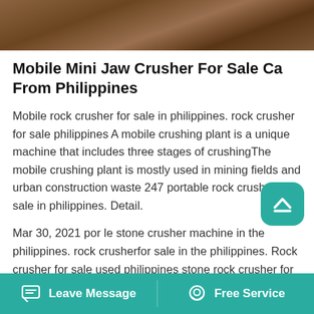[Figure (photo): Close-up photo of brown sandy/gravelly soil or rock material at the top of the page]
Mobile Mini Jaw Crusher For Sale Ca From Philippines
Mobile rock crusher for sale in philippines. rock crusher for sale philippines A mobile crushing plant is a unique machine that includes three stages of crushingThe mobile crushing plant is mostly used in mining fields and urban construction waste 247 portable rock crusher for sale in philippines. Detail.
Mar 30, 2021 por le stone crusher machine in the philippines. rock crusherfor sale in the philippines. Rock crusher for sale used philippines stone rock crusher for sale used philippines stone crusher plant the impact crusher is widely used for
Leave Message   Free Service